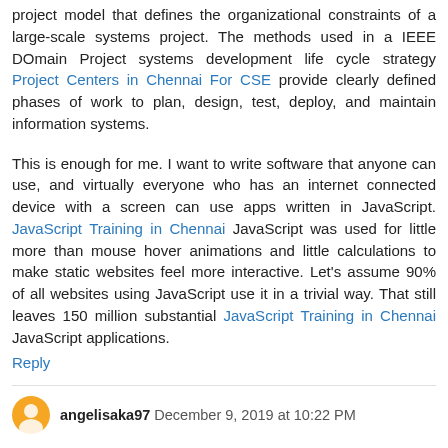project model that defines the organizational constraints of a large-scale systems project. The methods used in a IEEE DOmain Project systems development life cycle strategy Project Centers in Chennai For CSE provide clearly defined phases of work to plan, design, test, deploy, and maintain information systems.
This is enough for me. I want to write software that anyone can use, and virtually everyone who has an internet connected device with a screen can use apps written in JavaScript. JavaScript Training in Chennai JavaScript was used for little more than mouse hover animations and little calculations to make static websites feel more interactive. Let's assume 90% of all websites using JavaScript use it in a trivial way. That still leaves 150 million substantial JavaScript Training in Chennai JavaScript applications.
Reply
angelisaka97 December 9, 2019 at 10:22 PM